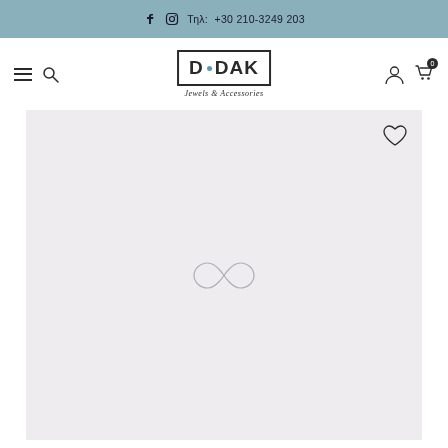f   Instagram  Τηλ:  +30 210-3249 203
[Figure (logo): D·DAK Jewels & Accessories logo with geometric lettering in a rectangular border]
[Figure (photo): Product image area showing a light grey placeholder with an infinity symbol watermark in the center and a heart/wishlist icon in the top right corner]